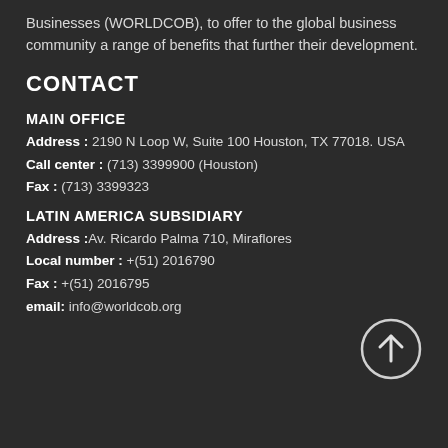Businesses (WORLDCOB), to offer to the global business community a range of benefits that further their development.
CONTACT
MAIN OFFICE
Address : 2190 N Loop W, Suite 100 Houston, TX 77018. USA
Call center : (713) 3399900 (Houston)
Fax : (713) 3399323
LATIN AMERICA SUBSIDIARY
Address :Av. Ricardo Palma 710, Miraflores
Local number : +(51) 2016790
Fax : +(51) 2016795
email: info@worldcob.org
[Figure (illustration): A circular arrow pointing upward (scroll-to-top button)]